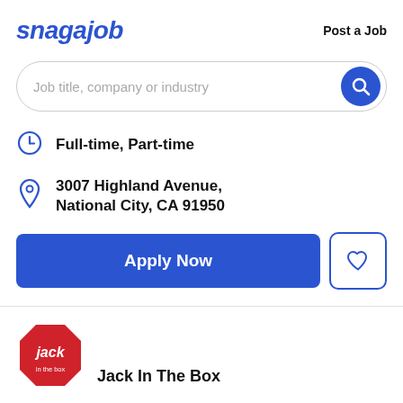snagajob   Post a Job
Job title, company or industry
Full-time, Part-time
3007 Highland Avenue, National City, CA 91950
Apply Now
[Figure (logo): Jack in the Box logo — red octagonal shape with white 'jack in the box' text]
Jack In The Box